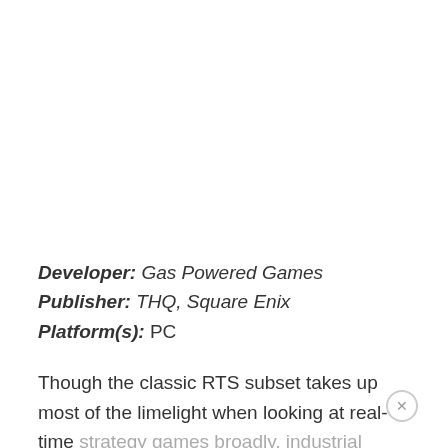Developer: Gas Powered Games
Publisher: THQ, Square Enix
Platform(s): PC
Though the classic RTS subset takes up most of the limelight when looking at real-time strategy games broadly, industrial warfare games are a compelling alternative and